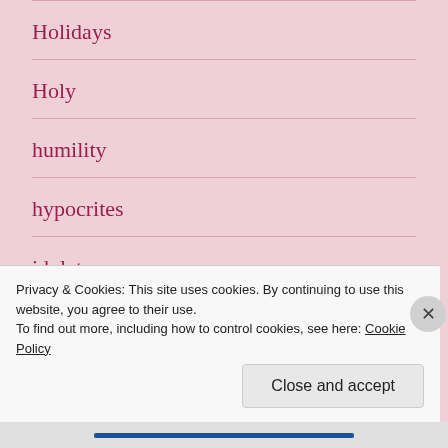Holidays
Holy
humility
hypocrites
idolatry
Intervention
Privacy & Cookies: This site uses cookies. By continuing to use this website, you agree to their use.
To find out more, including how to control cookies, see here: Cookie Policy
Close and accept